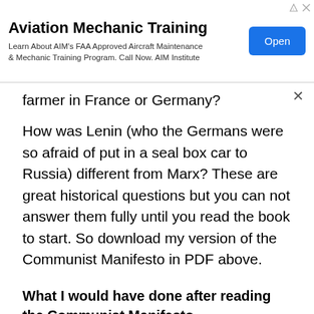[Figure (screenshot): Advertisement banner for Aviation Mechanic Training by AIM Institute with an 'Open' button]
farmer in France or Germany?
How was Lenin (who the Germans were so afraid of put in a seal box car to Russia) different from Marx? These are great historical questions but you can not answer them fully until you read the book to start. So download my version of the Communist Manifesto in PDF above.
What I would have done after reading the Communist Manifesto
The enlightenment, anti-Marxism and the ideas of